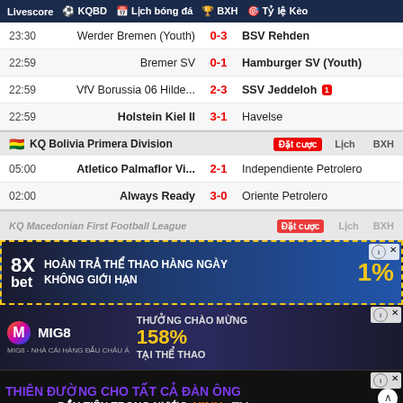Livescore | KQBD | Lịch bóng đá | BXH | Tỷ lệ Kèo
| Time | Home | Score | Away |
| --- | --- | --- | --- |
| 23:30 | Werder Bremen (Youth) | 0-3 | BSV Rehden |
| 22:59 | Bremer SV | 0-1 | Hamburger SV (Youth) |
| 22:59 | VfV Borussia 06 Hilde... | 2-3 | SSV Jeddeloh [1] |
| 22:59 | Holstein Kiel II | 3-1 | Havelse |
KQ Bolivia Primera Division | Đặt cược | Lịch | BXH
| Time | Home | Score | Away |
| --- | --- | --- | --- |
| 05:00 | Atletico Palmaflor Vi... | 2-1 | Independiente Petrolero |
| 02:00 | Always Ready | 3-0 | Oriente Petrolero |
KQ Macedonian First Football League | Đặt cược | Lịch | BXH
[Figure (screenshot): 8Xbet advertisement banner: HOÀN TRẢ THỂ THAO HÀNG NGÀY KHÔNG GIỚI HẠN 1%]
[Figure (screenshot): MIG8 advertisement banner: THƯỞNG CHÀO MỪNG 158% TẠI THỂ THAO]
[Figure (screenshot): XINH.TV advertisement: THIÊN ĐƯỜNG CHO TẤT CẢ ĐÀN ÔNG APP 18+ ĐẦU TIÊN TRONG NƯỚC]